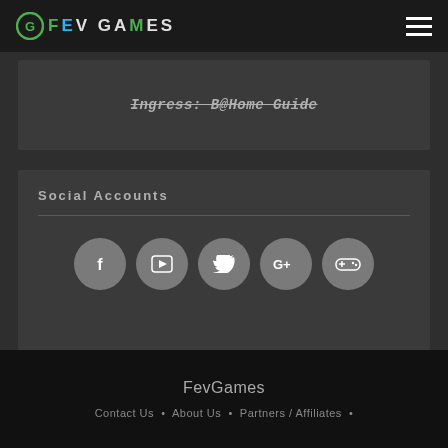FEV GAMES
Ingress: B@Home Guide
Social Accounts
[Figure (infographic): Five circular social media icon buttons: Facebook, YouTube, Twitter, Google+, and a game controller icon, arranged in a row on a dark card background.]
FevGames — Contact Us · About Us · Partners / Affiliates ·